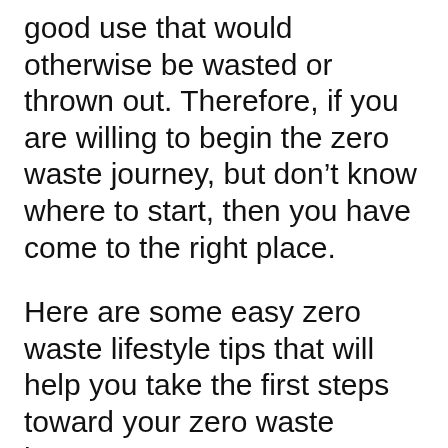good use that would otherwise be wasted or thrown out. Therefore, if you are willing to begin the zero waste journey, but don't know where to start, then you have come to the right place.
Here are some easy zero waste lifestyle tips that will help you take the first steps toward your zero waste journey.